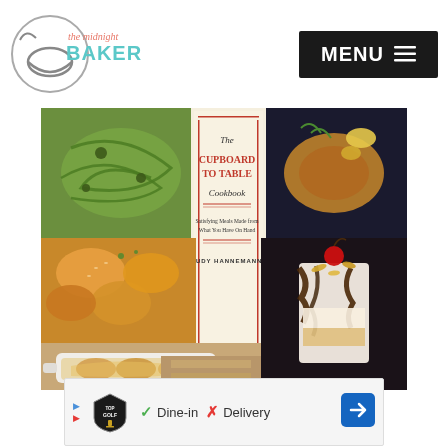The Midnight Baker - MENU
[Figure (photo): Book cover of 'The Cupboard to Table Cookbook' by Judy Hannemann showing food photography collage with pasta, roasted chicken, bread rolls, a casserole dish, and a chocolate sundae. The cover has a vintage cream-colored center panel with red serif title text and script subtitle text.]
[Figure (other): Advertisement banner with Topgolf logo, checkmark with Dine-in text, X with Delivery text, and blue diamond arrow icon]